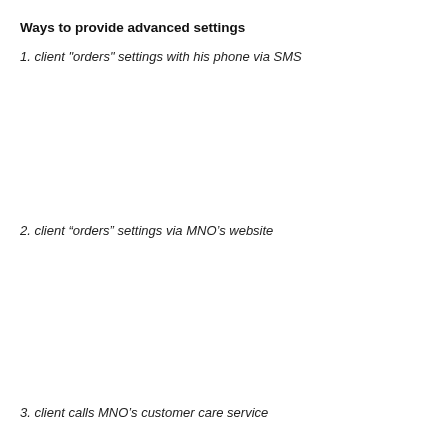Ways to provide advanced settings
1. client "orders" settings with his phone via SMS
2. client “orders” settings via MNO’s website
3. client calls MNO’s customer care service